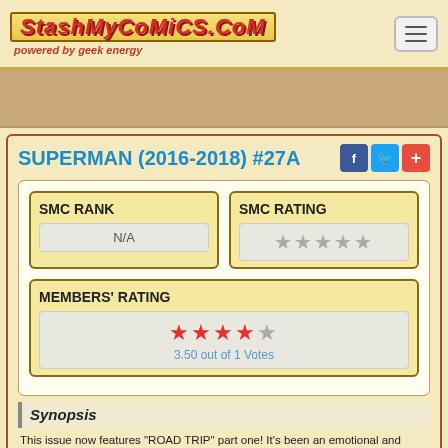StashMyComics.com - powered by geek energy
SUPERMAN (2016-2018) #27A
SMC RANK: N/A
SMC RATING: (stars)
MEMBERS' RATING: 3.50 out of 1 Votes
Synopsis
This issue now features "ROAD TRIP" part one! It's been an emotional and physical rollercoaster for Superman, Lois, and Jon: the Eradicator, Dinosaur Island, Frankenstein and the Bride, Multiversity, Reborn and Black Dawn-a barrage of terror and horror! What does the family need right now? Yep, you